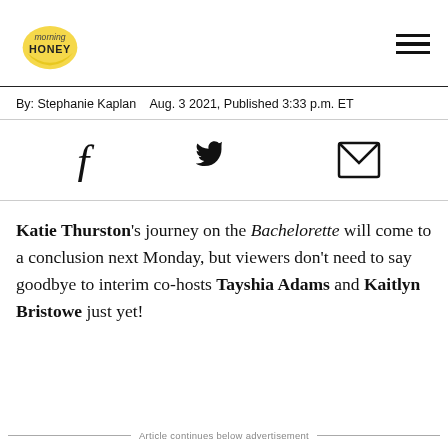morning HONEY
By: Stephanie Kaplan   Aug. 3 2021, Published 3:33 p.m. ET
[Figure (other): Social sharing icons: Facebook (f), Twitter bird, Email envelope]
Katie Thurston's journey on the Bachelorette will come to a conclusion next Monday, but viewers don't need to say goodbye to interim co-hosts Tayshia Adams and Kaitlyn Bristowe just yet!
Article continues below advertisement